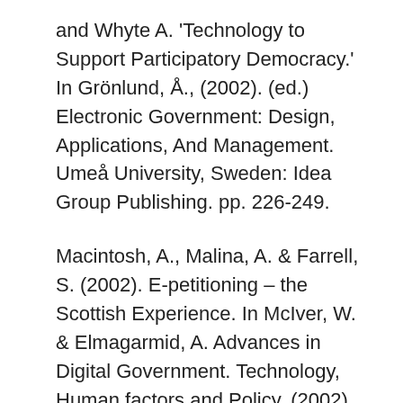and Whyte A. 'Technology to Support Participatory Democracy.'  In Grönlund, Å., (2002). (ed.)  Electronic Government: Design, Applications, And Management. Umeå University, Sweden: Idea Group Publishing. pp. 226-249.
Macintosh, A., Malina, A. & Farrell, S. (2002). E-petitioning – the Scottish Experience. In McIver, W. & Elmagarmid, A. Advances in Digital Government. Technology, Human factors and Policy. (2002) (ed). USA. Kluwer Publications. pp.137-149.